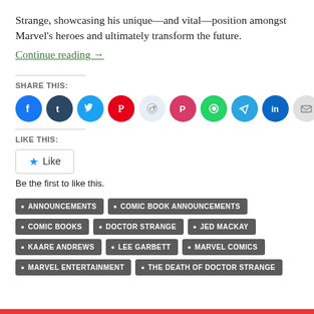Strange, showcasing his unique—and vital—position amongst Marvel's heroes and ultimately transform the future.
Continue reading →
[Figure (infographic): Row of social media share buttons as colored circles: Facebook (blue), Tumblr (dark blue), Twitter (cyan), Pinterest (red), Reddit (light blue), Pocket (red), WhatsApp (green), Telegram (blue), LinkedIn (dark blue), Email (gray)]
LIKE THIS:
[Figure (infographic): Like button widget with a blue star icon and the word Like, inside a rounded rectangle border]
Be the first to like this.
ANNOUNCEMENTS
COMIC BOOK ANNOUNCEMENTS
COMIC BOOKS
DOCTOR STRANGE
JED MACKAY
KAARE ANDREWS
LEE GARBETT
MARVEL COMICS
MARVEL ENTERTAINMENT
THE DEATH OF DOCTOR STRANGE